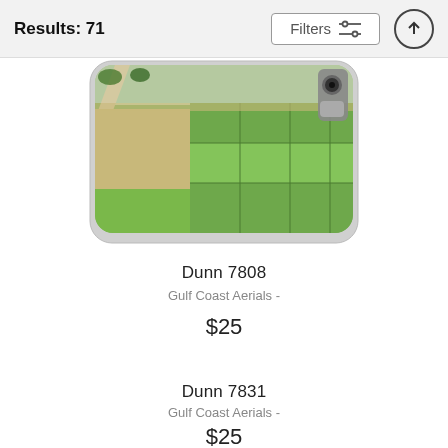Results: 71
Filters
[Figure (photo): Aerial photograph of agricultural fields and construction area displayed on a phone case mockup]
Dunn 7808
Gulf Coast Aerials -
$25
Dunn 7831
Gulf Coast Aerials -
$25